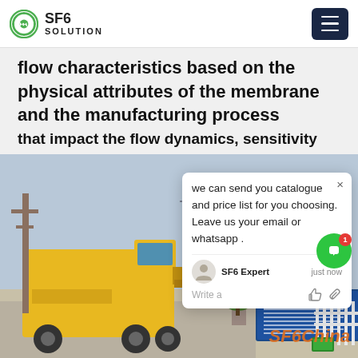SF6 SOLUTION
flow characteristics based on the physical attributes of the membrane and the manufacturing process that impact the flow dynamics, sensitivity
[Figure (photo): Photograph of an electrical substation with large SF6 gas insulated equipment and transformers, with a yellow ISUZU truck parked in the foreground and a blue information sign board visible. Power transmission equipment and towers visible in background.]
we can send you catalogue and price list for you choosing.
Leave us your email or whatsapp .
SF6 Expert    just now
Write a
SF6China